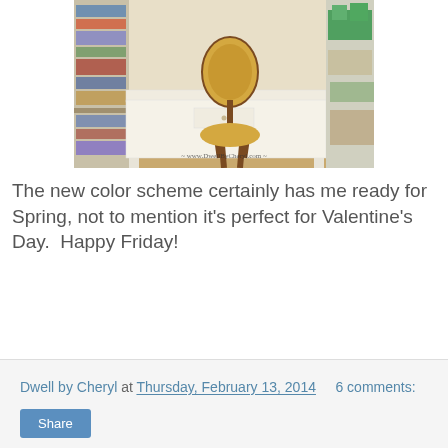[Figure (photo): A white painted desk/console table with a yellow upholstered round-back chair, bookshelf on the left, and shelving unit on the right with plants. Watermark reads www.DwellByCheryl.com]
The new color scheme certainly has me ready for Spring, not to mention it's perfect for Valentine's Day.  Happy Friday!
Dwell by Cheryl at Thursday, February 13, 2014   6 comments:
Share